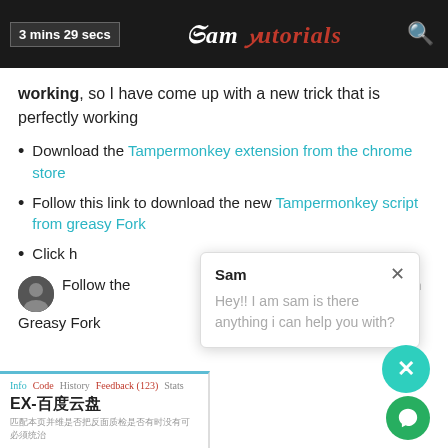3 mins 29 secs | Sam Tutorials
working, so I have come up with a new trick that is perfectly working
Download the Tampermonkey extension from the chrome store
Follow this link to download the new Tampermonkey script from greasy Fork
Click h...
Follow the... ...t in tab...m...
Greasy Fork
[Figure (screenshot): Greasy Fork script panel showing tabs: Info, Code, History, Feedback (123), Stats. Title: EX-百度云盘 with Chinese subtitle text.]
[Figure (screenshot): Chat popup overlay with name 'Sam' and message 'Hey!! I am sam is there anything i can help you with?' with close X button. Teal circle close button and green chat bubble button in bottom right.]